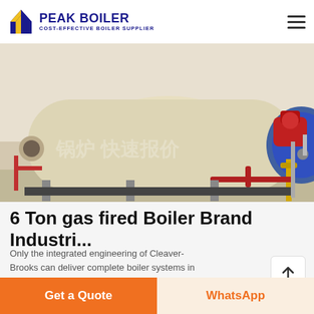PEAK BOILER - COST-EFFECTIVE BOILER SUPPLIER
[Figure (photo): Industrial gas fired boiler in a facility, showing a large horizontal cylindrical boiler with blue end cap, red burner assembly, yellow and red pipe installations, and Chinese watermark text on the image.]
6 Ton gas fired Boiler Brand Industri...
Only the integrated engineering of Cleaver-Brooks can deliver complete boiler systems in any size, for any application. Welcome to our new site. Come on in and stay awhile. If you cannot find...
[Figure (photo): Partial view of industrial boiler installation showing yellow pipe framework and red pipes with valves on the ceiling of a facility.]